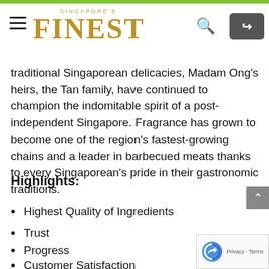SINGAPORE'S FINEST
traditional Singaporean delicacies, Madam Ong's heirs, the Tan family, have continued to champion the indomitable spirit of a post-independent Singapore. Fragrance has grown to become one of the region's fastest-growing chains and a leader in barbecued meats thanks to every Singaporean's pride in their gastronomic traditions.
Highlights:
Highest Quality of Ingredients
Trust
Progress
Customer Satisfaction